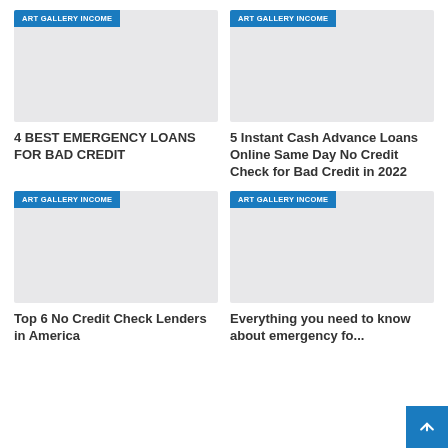[Figure (illustration): Article thumbnail image placeholder with 'ART GALLERY INCOME' badge, light gray background]
4 BEST EMERGENCY LOANS FOR BAD CREDIT
[Figure (illustration): Article thumbnail image placeholder with 'ART GALLERY INCOME' badge, light gray background]
5 Instant Cash Advance Loans Online Same Day No Credit Check for Bad Credit in 2022
[Figure (illustration): Article thumbnail image placeholder with 'ART GALLERY INCOME' badge, light gray background]
Top 6 No Credit Check Lenders in America
[Figure (illustration): Article thumbnail image placeholder with 'ART GALLERY INCOME' badge, light gray background]
Everything you need to know about emergency fo...